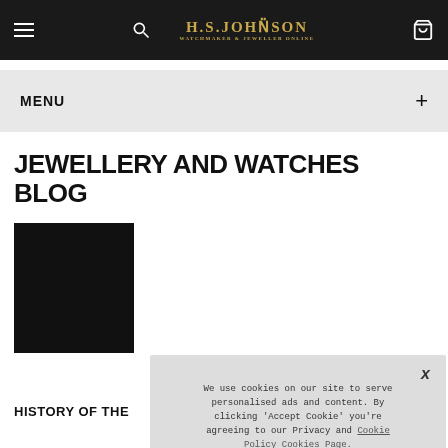H.S. JOHNSON — WATCHMAKER & JEWELLER SINCE
MENU +
JEWELLERY AND WATCHES BLOG
[Figure (photo): Dark/black rectangular image, partial view of a watch or jewellery item]
We use cookies on our site to serve personalised ads and content. By clicking 'Accept Cookie' you're agreeing to our Privacy and Cookie Policy Cookies Page.

I opt-in to a better browsing experience

ACCEPT COOKIES
HISTORY OF THE